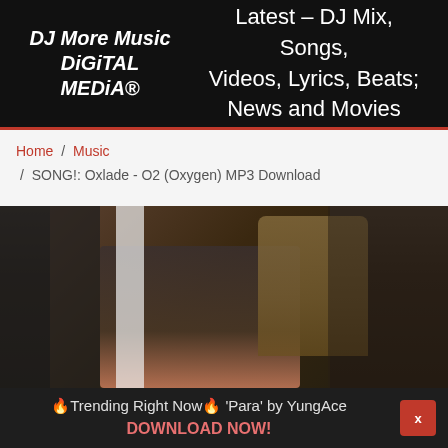DJ More Music DiGiTAL MEDiA® — Latest – DJ Mix, Songs, Videos, Lyrics, Beats; News and Movies
Home / Music / SONG!: Oxlade - O2 (Oxygen) MP3 Download
[Figure (photo): Dark-toned scene showing a person and a doll figure in the background, possibly a music video still]
🔥Trending Right Now🔥 'Para' by YungAce DOWNLOAD NOW!